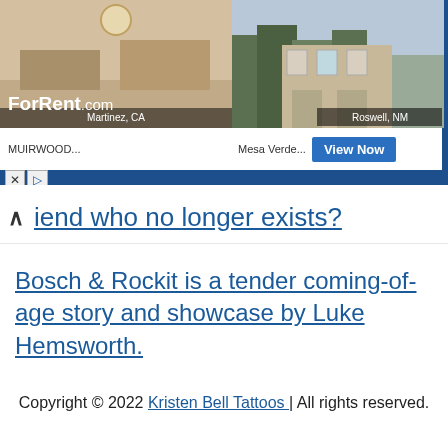[Figure (screenshot): ForRent.com advertisement banner showing apartment photos for Roswell, NM (Mesa Verde) and Martinez, CA (Muirwood) with a blue 'View Now' button]
iend who no longer exists?
Bosch & Rockit is a tender coming-of-age story and showcase by Luke Hemsworth.
Copyright © 2022 Kristen Bell Tattoos | All rights reserved.